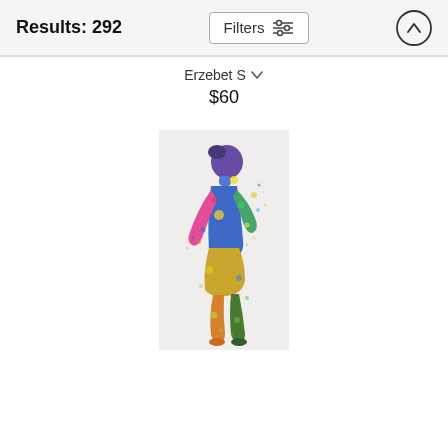Results: 292
Filters
Erzebet S
$60
[Figure (illustration): Colorful watercolor silhouette of a person (appearing to be a dancer or performer) with vibrant splashes of blue, yellow, green, pink, and purple paint on a white background, displayed in a vertical portrait format.]